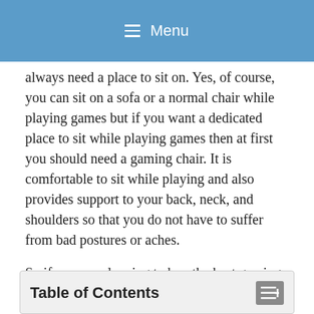≡ Menu
always need a place to sit on. Yes, of course, you can sit on a sofa or a normal chair while playing games but if you want a dedicated place to sit while playing games then at first you should need a gaming chair. It is comfortable to sit while playing and also provides support to your back, neck, and shoulders so that you do not have to suffer from bad postures or aches.
So if you are planning to buy the best gaming chair for yourself or your child but unable to choose one then don't worry because you have opened the right tab. Here we will be discussing the 10 best gaming chairs in India that you can go for without hesitation.
Table of Contents